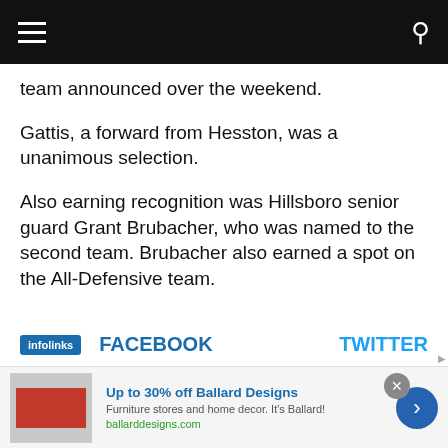[Navigation bar with hamburger menu and search icon]
team announced over the weekend.
Gattis, a forward from Hesston, was a unanimous selection.
Also earning recognition was Hillsboro senior guard Grant Brubacher, who was named to the second team. Brubacher also earned a spot on the All-Defensive team.
infolinks  FACEBOOK  TWITTER
Up to 30% off Ballard Designs  Furniture stores and home decor. It's Ballard!  ballarddesigns.com